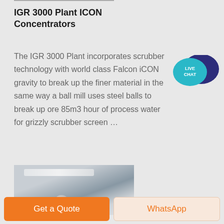IGR 3000 Plant ICON Concentrators
The IGR 3000 Plant incorporates scrubber technology with world class Falcon iCON gravity to break up the finer material in the same way a ball mill uses steel balls to break up ore 85m3 hour of process water for grizzly scrubber screen …
[Figure (illustration): Live Chat speech bubble icon — teal bubble with 'LIVE CHAT' text and dark navy secondary bubble]
[Figure (photo): Interior photo of industrial facility showing ceiling lights and equipment]
Get a Quote
WhatsApp